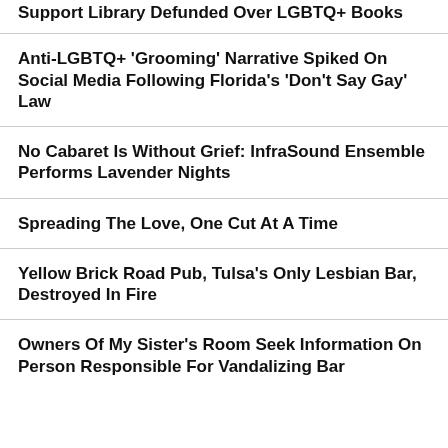Support Library Defunded Over LGBTQ+ Books
Anti-LGBTQ+ 'Grooming' Narrative Spiked On Social Media Following Florida's 'Don't Say Gay' Law
No Cabaret Is Without Grief: InfraSound Ensemble Performs Lavender Nights
Spreading The Love, One Cut At A Time
Yellow Brick Road Pub, Tulsa's Only Lesbian Bar, Destroyed In Fire
Owners Of My Sister's Room Seek Information On Person Responsible For Vandalizing Bar